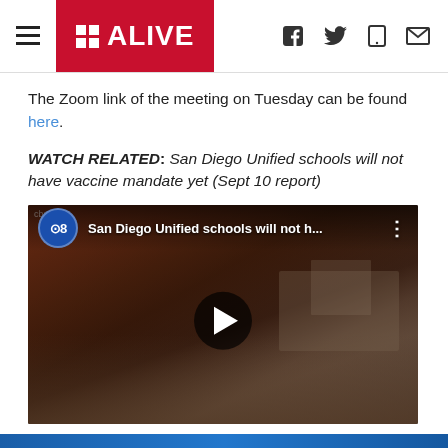11 ALIVE
The Zoom link of the meeting on Tuesday can be found here.
WATCH RELATED: San Diego Unified schools will not have vaccine mandate yet (Sept 10 report)
[Figure (screenshot): Embedded YouTube video thumbnail showing a student using a tablet in a classroom, with CBS8 logo and title 'San Diego Unified schools will not h...' and a play button overlay.]